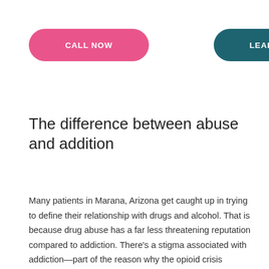[Figure (other): Pink rounded button labeled CALL NOW]
[Figure (other): Teal rounded button labeled LEARN MORE]
The difference between abuse and addition
Many patients in Marana, Arizona get caught up in trying to define their relationship with drugs and alcohol. That is because drug abuse has a far less threatening reputation compared to addiction. There’s a stigma associated with addiction—part of the reason why the opioid crisis became as bad as it is right now. On the other hand, drug abuse is romanticized in media and portrayed as something that is cool or fun. According to Medline Plus, an issue with drug abuse is defined as the regular abuse of any illicit substance. That includes alcohol and prescription medications. Drug abuse refers to any overuse… The